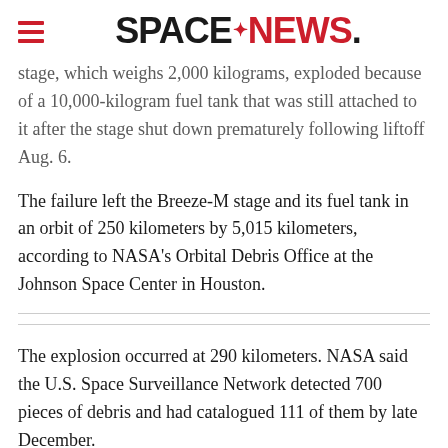SPACENEWS
stage, which weighs 2,000 kilograms, exploded because of a 10,000-kilogram fuel tank that was still attached to it after the stage shut down prematurely following liftoff Aug. 6.
The failure left the Breeze-M stage and its fuel tank in an orbit of 250 kilometers by 5,015 kilometers, according to NASA's Orbital Debris Office at the Johnson Space Center in Houston.
The explosion occurred at 290 kilometers. NASA said the U.S. Space Surveillance Network detected 700 pieces of debris and had catalogued 111 of them by late December.